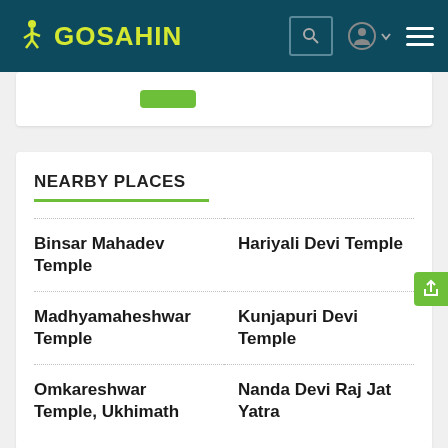GOSAHIN
NEARBY PLACES
Binsar Mahadev Temple
Hariyali Devi Temple
Madhyamaheshwar Temple
Kunjapuri Devi Temple
Omkareshwar Temple, Ukhimath
Nanda Devi Raj Jat Yatra